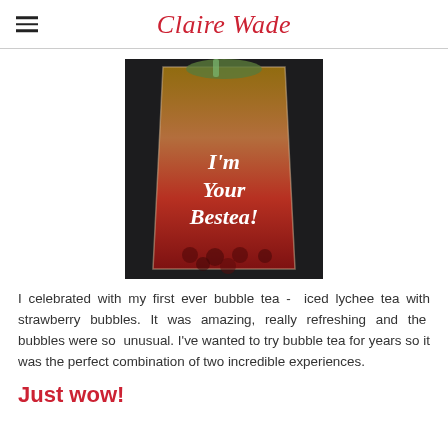Claire Wade
[Figure (photo): A bubble tea cup with gradient colors from amber/orange at top to red/strawberry at the bottom, with text on the cup reading "I'm Your Bestea!" on a dark background]
I celebrated with my first ever bubble tea - iced lychee tea with strawberry bubbles. It was amazing, really refreshing and the bubbles were so unusual. I've wanted to try bubble tea for years so it was the perfect combination of two incredible experiences.
Just wow!